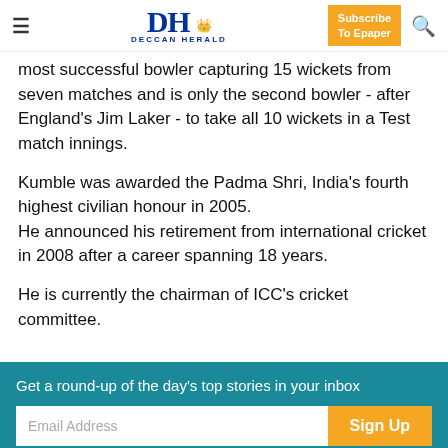DH DECCAN HERALD | Subscribe To Epaper
most successful bowler capturing 15 wickets from seven matches and is only the second bowler - after England's Jim Laker - to take all 10 wickets in a Test match innings.
Kumble was awarded the Padma Shri, India's fourth highest civilian honour in 2005.
He announced his retirement from international cricket in 2008 after a career spanning 18 years.
He is currently the chairman of ICC's cricket committee.
Get a round-up of the day's top stories in your inbox